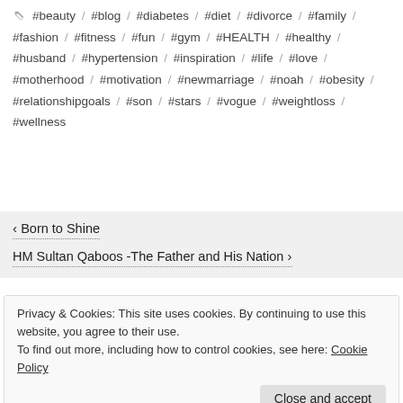#beauty / #blog / #diabetes / #diet / #divorce / #family / #fashion / #fitness / #fun / #gym / #HEALTH / #healthy / #husband / #hypertension / #inspiration / #life / #love / #motherhood / #motivation / #newmarriage / #noah / #obesity / #relationshipgoals / #son / #stars / #vogue / #weightloss / #wellness
‹ Born to Shine
HM Sultan Qaboos -The Father and His Nation ›
Privacy & Cookies: This site uses cookies. By continuing to use this website, you agree to their use. To find out more, including how to control cookies, see here: Cookie Policy